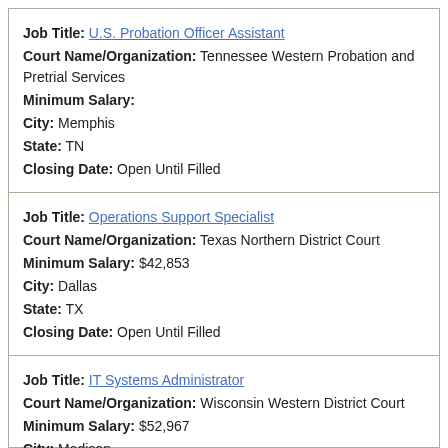Job Title: U.S. Probation Officer Assistant
Court Name/Organization: Tennessee Western Probation and Pretrial Services
Minimum Salary:
City: Memphis
State: TN
Closing Date: Open Until Filled
Job Title: Operations Support Specialist
Court Name/Organization: Texas Northern District Court
Minimum Salary: $42,853
City: Dallas
State: TX
Closing Date: Open Until Filled
Job Title: IT Systems Administrator
Court Name/Organization: Wisconsin Western District Court
Minimum Salary: $52,967
City: Madison